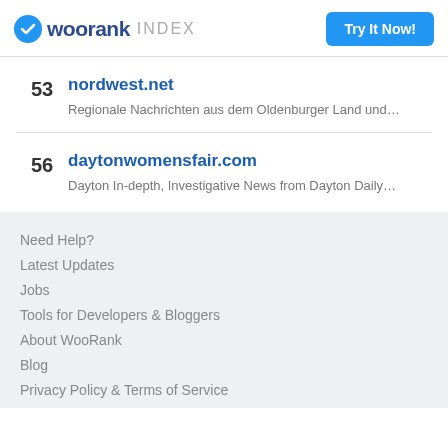woorank INDEX
53 nordwest.net — Regionale Nachrichten aus dem Oldenburger Land und...
56 daytonwomensfair.com — Dayton In-depth, Investigative News from Dayton Daily...
Need Help?
Latest Updates
Jobs
Tools for Developers & Bloggers
About WooRank
Blog
Privacy Policy & Terms of Service